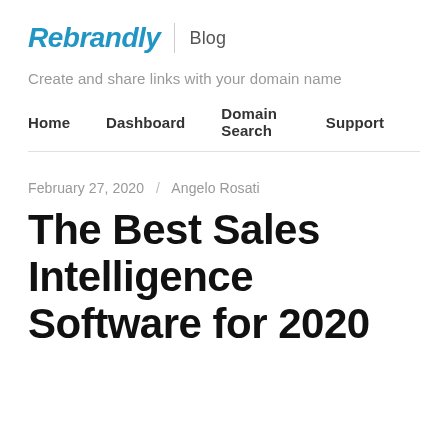Rebrandly | Blog
Create and share links with your domain name
Home   Dashboard   Domain Search   Support
February 27, 2020 / Angelo Rosati
The Best Sales Intelligence Software for 2020